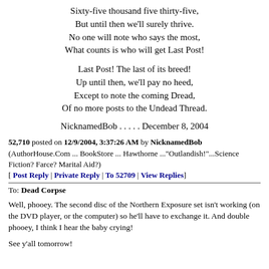Sixty-five thousand five thirty-five,
But until then we'll surely thrive.
No one will note who says the most,
What counts is who will get Last Post!

Last Post! The last of its breed!
Up until then, we'll pay no heed,
Except to note the coming Dread,
Of no more posts to the Undead Thread.
NicknamedBob . . . . . December 8, 2004
52,710 posted on 12/9/2004, 3:37:26 AM by NicknamedBob
(AuthorHouse.Com ... BookStore ... Hawthorne ..."Outlandish!"...Science Fiction? Farce? Marital Aid?)
[ Post Reply | Private Reply | To 52709 | View Replies]
To: Dead Corpse
Well, phooey. The second disc of the Northern Exposure set isn't working (on the DVD player, or the computer) so he'll have to exchange it. And double phooey, I think I hear the baby crying!

See y'all tomorrow!